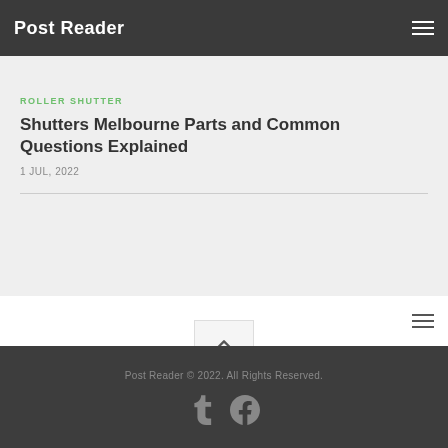Post Reader
ROLLER SHUTTER
Shutters Melbourne Parts and Common Questions Explained
1 JUL, 2022
Post Reader © 2022. All Rights Reserved.